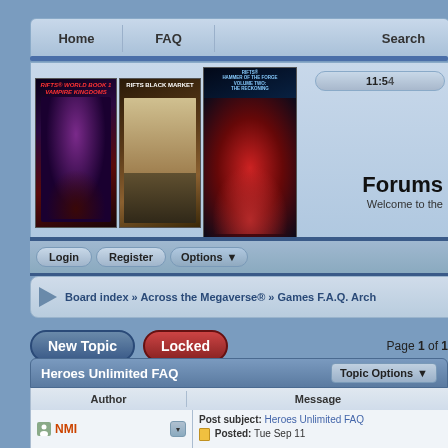Home | FAQ | Search
[Figure (screenshot): Banner showing three book covers: Vampire Kingdoms, Rifts Black Market, and Rifts Hammer of the Forge. Right side shows Forums heading and Welcome to the text with time display 11:54]
Login  Register  Options
Board index » Across the Megaverse® » Games F.A.Q. Arch
New Topic   Locked   Page 1 of 1
Heroes Unlimited FAQ
| Author | Message |
| --- | --- |
| NMI | Post subject: Heroes Unlimited FAQ
Posted: Tue Sep 11 |
Topic Options